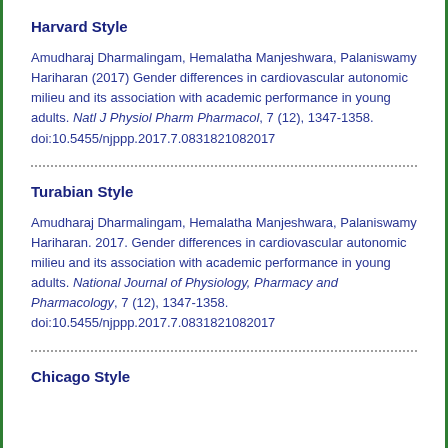Harvard Style
Amudharaj Dharmalingam, Hemalatha Manjeshwara, Palaniswamy Hariharan (2017) Gender differences in cardiovascular autonomic milieu and its association with academic performance in young adults. Natl J Physiol Pharm Pharmacol, 7 (12), 1347-1358. doi:10.5455/njppp.2017.7.0831821082017
Turabian Style
Amudharaj Dharmalingam, Hemalatha Manjeshwara, Palaniswamy Hariharan. 2017. Gender differences in cardiovascular autonomic milieu and its association with academic performance in young adults. National Journal of Physiology, Pharmacy and Pharmacology, 7 (12), 1347-1358. doi:10.5455/njppp.2017.7.0831821082017
Chicago Style